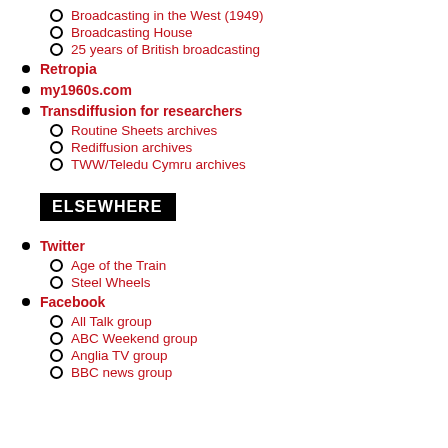Broadcasting in the West (1949)
Broadcasting House
25 years of British broadcasting
Retropia
my1960s.com
Transdiffusion for researchers
Routine Sheets archives
Rediffusion archives
TWW/Teledu Cymru archives
ELSEWHERE
Twitter
Age of the Train
Steel Wheels
Facebook
All Talk group
ABC Weekend group
Anglia TV group
BBC news group